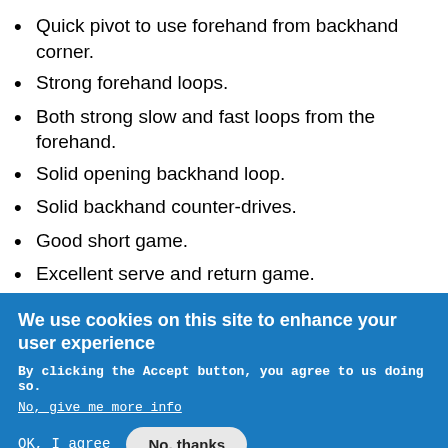Quick pivot to use forehand from backhand corner.
Strong forehand loops.
Both strong slow and fast loops from the forehand.
Solid opening backhand loop.
Solid backhand counter-drives.
Good short game.
Excellent serve and return game.
Weaknesses:
We use cookies on this site to enhance your user experience
By clicking the Accept button, you agree to us doing so.
No, give me more info
OK, I agree
No, thanks